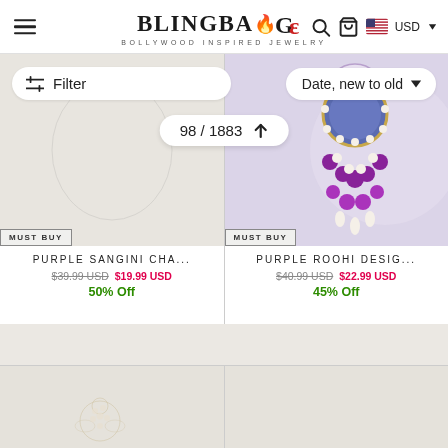BlingBag — Bollywood Inspired Jewelry
Filter | Date, new to old | 98 / 1883
[Figure (photo): Product image area for Purple Sangini Cha... — blank/faint jewelry image on cream background with MUST BUY badge]
PURPLE SANGINI CHA...
$39.99 USD  $19.99 USD
50% Off
[Figure (photo): Product image for Purple Roohi Desig... — purple and gold chandelier earring on cream/lavender background with MUST BUY badge]
PURPLE ROOHI DESIG...
$40.99 USD  $22.99 USD
45% Off
[Figure (photo): Partial product image — cream background with faint jewelry motif (bottom left)]
[Figure (photo): Partial product image — plain cream background (bottom right)]